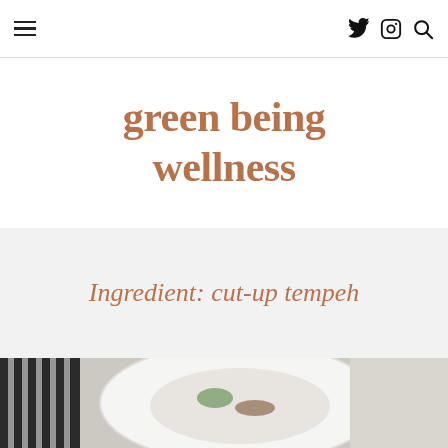green being wellness — navigation header with menu, twitter, instagram, search icons
green being wellness
Ingredient: cut-up tempeh
[Figure (photo): Photo of a white bowl with food (tempeh dish) on a marble surface with a striped cloth, partially visible]